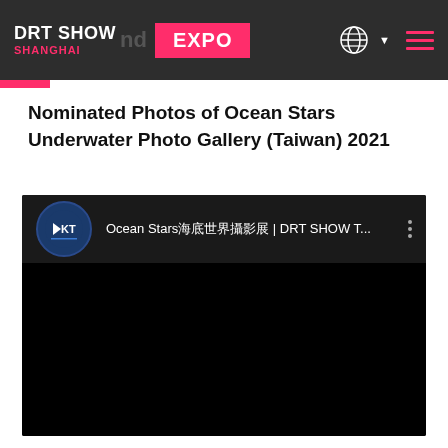DRT SHOW SHANGHAI EXPO
Nominated Photos of Ocean Stars Underwater Photo Gallery (Taiwan) 2021
[Figure (screenshot): YouTube video thumbnail showing 'Ocean Stars海底世界攝影展 | DRT SHOW T...' with DRT channel logo on dark background]